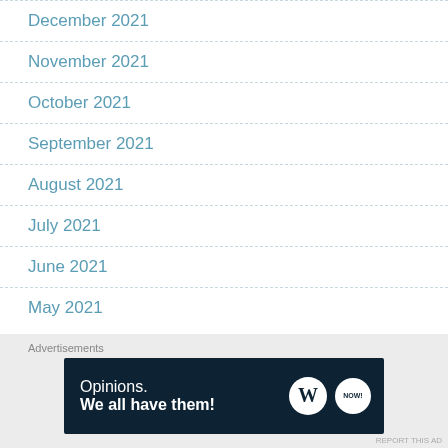December 2021
November 2021
October 2021
September 2021
August 2021
July 2021
June 2021
May 2021
[Figure (other): Advertisement banner: WordPress 'Opinions. We all have them!' with WordPress and Blog logos on dark navy background]
Advertisements
REPORT THIS AD